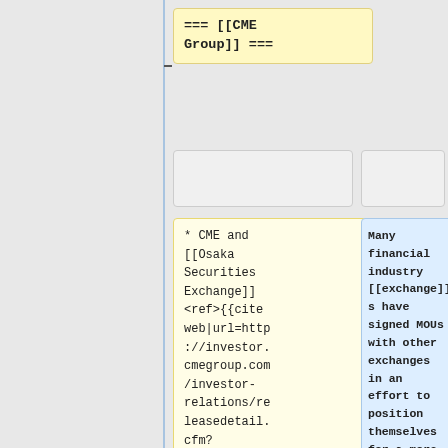=== [[CME Group]] ===
* CME and [[Osaka Securities Exchange]] <ref>{{cite web|url=http://investor.cmegroup.com/investor-relations/releasedetail.cfm?ReleaseID=331815
Many financial industry [[exchange]]s have signed MOUs with other exchanges in an effort to position themselves for a more global environment. These agreements